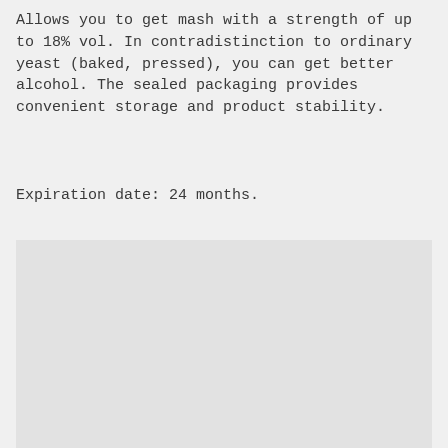Allows you to get mash with a strength of up to 18% vol. In contradistinction to ordinary yeast (baked, pressed), you can get better alcohol. The sealed packaging provides convenient storage and product stability.
Expiration date: 24 months.
[Figure (photo): A large light gray rectangular image placeholder area with a dark navy blue horizontal line at the bottom edge.]